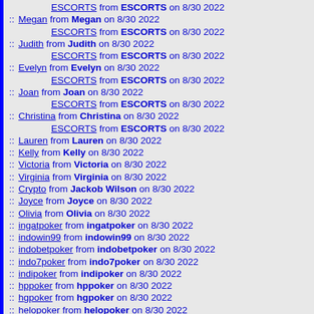ESCORTS from ESCORTS on 8/30 2022
:: Megan from Megan on 8/30 2022
ESCORTS from ESCORTS on 8/30 2022
:: Judith from Judith on 8/30 2022
ESCORTS from ESCORTS on 8/30 2022
:: Evelyn from Evelyn on 8/30 2022
ESCORTS from ESCORTS on 8/30 2022
:: Joan from Joan on 8/30 2022
ESCORTS from ESCORTS on 8/30 2022
:: Christina from Christina on 8/30 2022
ESCORTS from ESCORTS on 8/30 2022
:: Lauren from Lauren on 8/30 2022
:: Kelly from Kelly on 8/30 2022
:: Victoria from Victoria on 8/30 2022
:: Virginia from Virginia on 8/30 2022
:: Crypto from Jackob Wilson on 8/30 2022
:: Joyce from Joyce on 8/30 2022
:: Olivia from Olivia on 8/30 2022
:: ingatpoker from ingatpoker on 8/30 2022
:: indowin99 from indowin99 on 8/30 2022
:: indobetpoker from indobetpoker on 8/30 2022
:: indo7poker from indo7poker on 8/30 2022
:: indipoker from indipoker on 8/30 2022
:: hppoker from hppoker on 8/30 2022
:: hgpoker from hgpoker on 8/30 2022
:: helopoker from helopoker on 8/30 2022
:: hatipoker from hatipoker on 8/30 2022
:: happypoker from happypoker on 8/30 2022
:: Julie from Julie on 8/30 2022
:: grahapoker from grahapoker on 8/30 2022